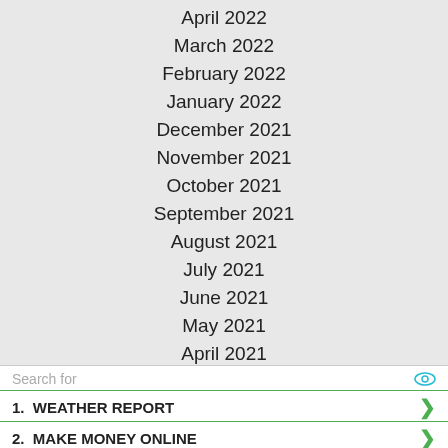April 2022
March 2022
February 2022
January 2022
December 2021
November 2021
October 2021
September 2021
August 2021
July 2021
June 2021
May 2021
April 2021
Search for
1.  WEATHER REPORT
2.  MAKE MONEY ONLINE